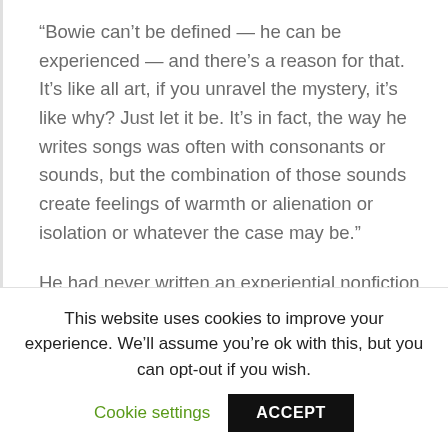“Bowie can’t be defined — he can be experienced — and there’s a reason for that. It’s like all art, if you unravel the mystery, it’s like why? Just let it be. It’s in fact, the way he writes songs was often with consonants or sounds, but the combination of those sounds create feelings of warmth or alienation or isolation or whatever the case may be.”
He had never written an experiential nonfiction film before and was quickly humbled by the undertaking, while also blowing through his initial
This website uses cookies to improve your experience. We’ll assume you’re ok with this, but you can opt-out if you wish.